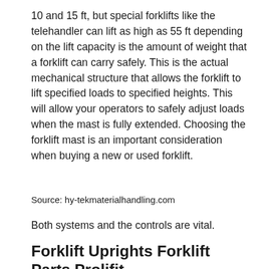10 and 15 ft, but special forklifts like the telehandler can lift as high as 55 ft depending on the lift capacity is the amount of weight that a forklift can carry safely. This is the actual mechanical structure that allows the forklift to lift specified loads to specified heights. This will allow your operators to safely adjust loads when the mast is fully extended. Choosing the forklift mast is an important consideration when buying a new or used forklift.
Source: hy-tekmaterialhandling.com
Both systems and the controls are vital.
Forklift Uprights Forklift Parts Prolifit